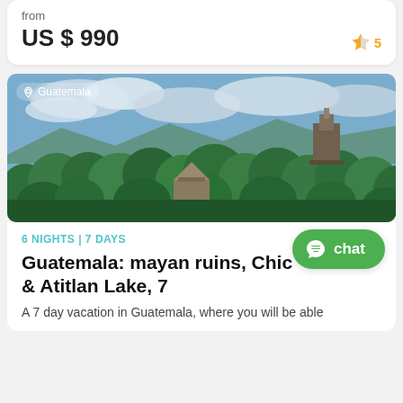from
US $ 990
5
[Figure (photo): Aerial view of Guatemala jungle with Mayan ruins/temples rising above dense green forest canopy, cloudy sky in background. Location tag reads 'Guatemala'.]
6 NIGHTS | 7 DAYS
Guatemala: mayan ruins, Chic & Atitlan Lake, 7
A 7 day vacation in Guatemala, where you will be able